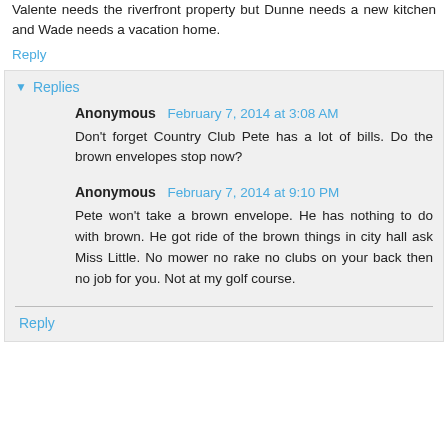Valente needs the riverfront property but Dunne needs a new kitchen and Wade needs a vacation home.
Reply
Replies
Anonymous  February 7, 2014 at 3:08 AM
Don't forget Country Club Pete has a lot of bills. Do the brown envelopes stop now?
Anonymous  February 7, 2014 at 9:10 PM
Pete won't take a brown envelope. He has nothing to do with brown. He got ride of the brown things in city hall ask Miss Little. No mower no rake no clubs on your back then no job for you. Not at my golf course.
Reply